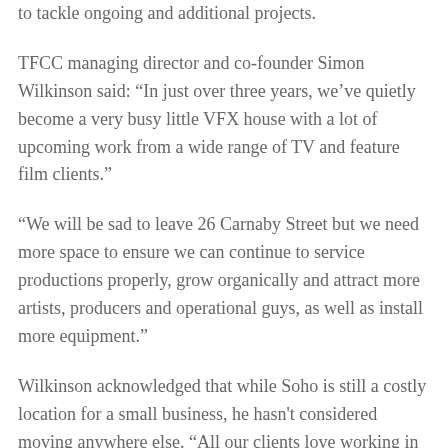to tackle ongoing and additional projects.
TFCC managing director and co-founder Simon Wilkinson said: “In just over three years, we’ve quietly become a very busy little VFX house with a lot of upcoming work from a wide range of TV and feature film clients.”
“We will be sad to leave 26 Carnaby Street but we need more space to ensure we can continue to service productions properly, grow organically and attract more artists, producers and operational guys, as well as install more equipment.”
Wilkinson acknowledged that while Soho is still a costly location for a small business, he hasn’t considered moving anywhere else. “All our clients love working in Soho,” he